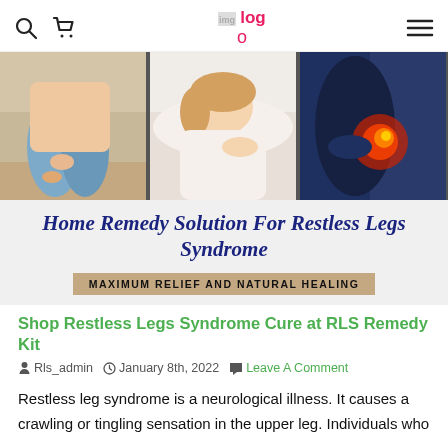Search | Cart | logo | Menu
[Figure (photo): Three-panel hero image: left panel shows person sitting on bed touching leg in blue pants; center panel shows woman sleeping/resting on pillow; right panel shows close-up of knee/hip with red glow indicating pain.]
Home Remedy Solution For Restless Legs Syndrome
MAXIMUM RELIEF AND NATURAL HEALING
Shop Restless Legs Syndrome Cure at RLS Remedy Kit
Rls_admin   January 8th, 2022   Leave A Comment
Restless leg syndrome is a neurological illness. It causes a crawling or tingling sensation in the upper leg. Individuals who